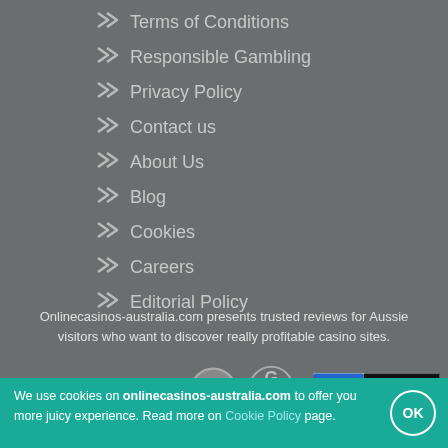Terms of Conditions
Responsible Gambling
Privacy Policy
Contact us
About Us
Blog
Cookies
Careers
Editorial Policy
Onlinecasinos-australia.com presents trusted reviews for Aussie visitors who want to discover really profitable casino sites.
[Figure (logo): BeGambleAware.org logo, 18+ badge, GamCare logo, DMCA Protected badge]
[Figure (logo): Online Casinos Australia .com site logo with poker chip]
We use cookies on onlinecasinos-australia.com to offer you more juicy experience. Read more on Cookie Policy page.